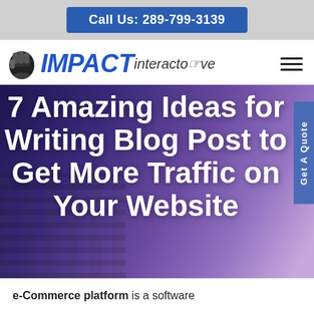Call Us: 289-799-3139
[Figure (logo): IMPACT interactive logo with fist icon]
7 Amazing Ideas for Writing Blog Post to Get More Traffic on Your Website
e-Commerce platform is a software